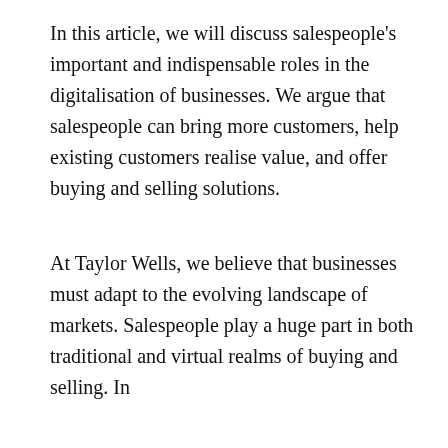In this article, we will discuss salespeople's important and indispensable roles in the digitalisation of businesses. We argue that salespeople can bring more customers, help existing customers realise value, and offer buying and selling solutions.
At Taylor Wells, we believe that businesses must adapt to the evolving landscape of markets. Salespeople play a huge part in both traditional and virtual realms of buying and selling. In